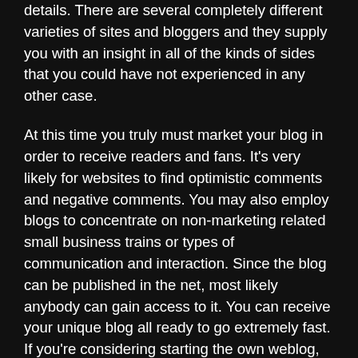details. There are several completely different varieties of sites and bloggers and they supply you with an insight in all of the kinds of sides that you could have not experienced in any other case.
At this time you truly must market your blog in order to receive readers and fans. It’s very likely for websites to find optimistic comments and negative comments. You may also employ blogs to concentrate on non-marketing related small business trains or types of communication and interaction. Since the blog can be published in the net, most likely anybody can gain access to it. You can receive your unique blog all ready to go extremely fast. If you’re considering starting the own weblog, just go through the suggestions provided above .
Weblogs ought to be current and up to date. In fact , they are simply recognized as one of the top social websites platforms on the internet today. A large amount of people merely hate the manner that the initial few blogs they write obtain quite a substantial audience.